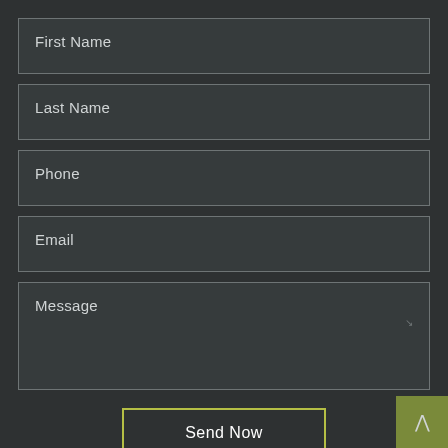First Name
Last Name
Phone
Email
Message
Send Now